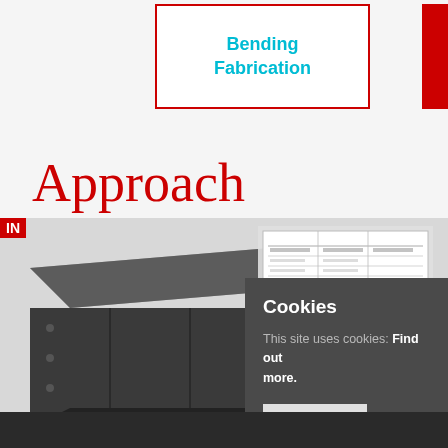Bending
Fabrication
Approach
[Figure (photo): Dark grey fabricated metal box/enclosure with engineering blueprint documents in the background]
IN
Cookies
This site uses cookies: Find out more.
Okay, thanks